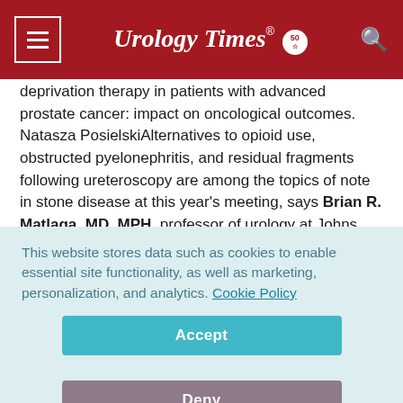Urology Times 50
deprivation therapy in patients with advanced prostate cancer: impact on oncological outcomes. Natasza PosielskiAlternatives to opioid use, obstructed pyelonephritis, and residual fragments following ureteroscopy are among the topics of note in stone disease at this year's meeting, says Brian R. Matlaga, MD, MPH, professor of urology at Johns Hopkins University School of Medicine, Baltimore. Here is what he had to say ahead of the meeting.
This website stores data such as cookies to enable essential site functionality, as well as marketing, personalization, and analytics. Cookie Policy
Accept
Deny